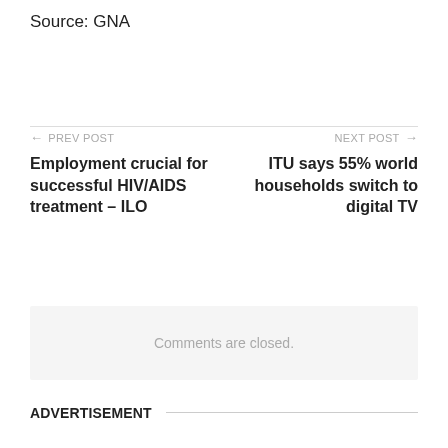Source: GNA
← PREV POST
Employment crucial for successful HIV/AIDS treatment – ILO
NEXT POST →
ITU says 55% world households switch to digital TV
Comments are closed.
ADVERTISEMENT